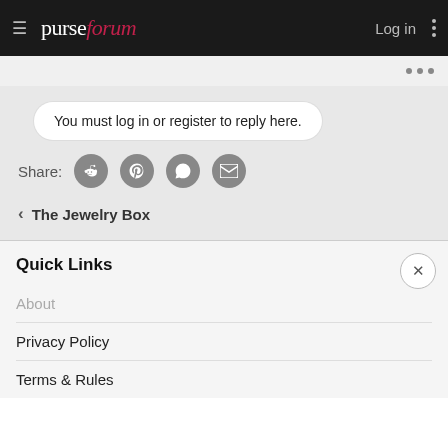purseforum — Log in
You must log in or register to reply here.
Share:
‹ The Jewelry Box
Quick Links
About
Privacy Policy
Terms & Rules